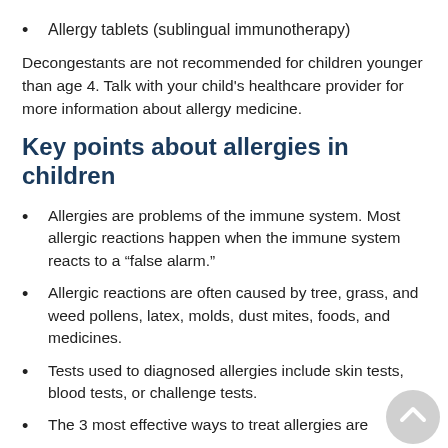Allergy tablets (sublingual immunotherapy)
Decongestants are not recommended for children younger than age 4. Talk with your child's healthcare provider for more information about allergy medicine.
Key points about allergies in children
Allergies are problems of the immune system. Most allergic reactions happen when the immune system reacts to a “false alarm.”
Allergic reactions are often caused by tree, grass, and weed pollens, latex, molds, dust mites, foods, and medicines.
Tests used to diagnosed allergies include skin tests, blood tests, or challenge tests.
The 3 most effective ways to treat allergies are